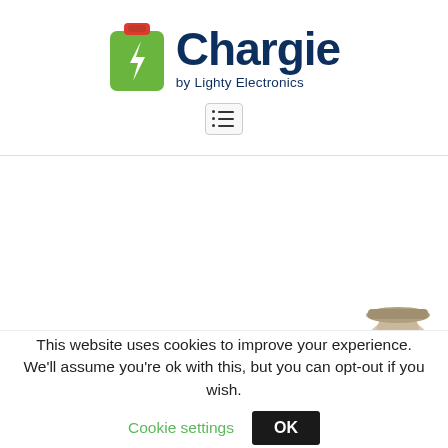[Figure (logo): Chargie by Lighty Electronics logo — battery icon (red top, green body with white lightning bolt) beside the word 'Chargie' in dark navy and 'by Lighty Electronics' subtitle]
[Figure (screenshot): Hamburger/list menu icon button with border]
[Figure (photo): Partial circular avatar photo of a person visible at bottom right]
This website uses cookies to improve your experience. We'll assume you're ok with this, but you can opt-out if you wish.
Cookie settings
OK